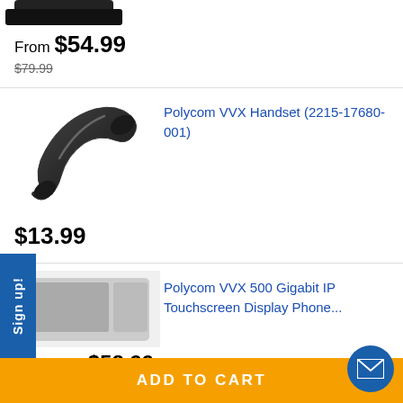[Figure (photo): Partial top view of a black desk phone]
From $54.99
$79.99 (strikethrough)
[Figure (photo): Black Polycom VVX handset phone receiver on white background]
Polycom VVX Handset (2215-17680-001)
$13.99
Polycom VVX 500 Gigabit IP Touchscreen Display Phone...
From $58.99
Sign up!
ADD TO CART